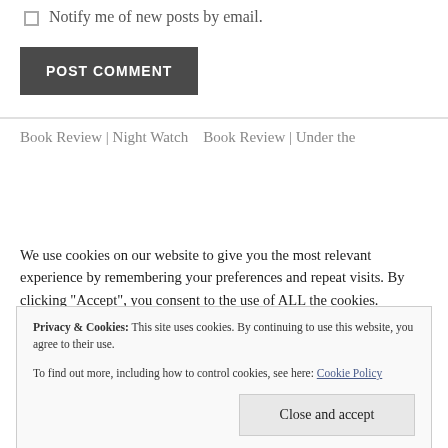Notify me of new posts by email.
POST COMMENT
Book Review | Night Watch   Book Review | Under the
We use cookies on our website to give you the most relevant experience by remembering your preferences and repeat visits. By clicking “Accept”, you consent to the use of ALL the cookies.
Privacy & Cookies: This site uses cookies. By continuing to use this website, you agree to their use.
To find out more, including how to control cookies, see here: Cookie Policy
Close and accept